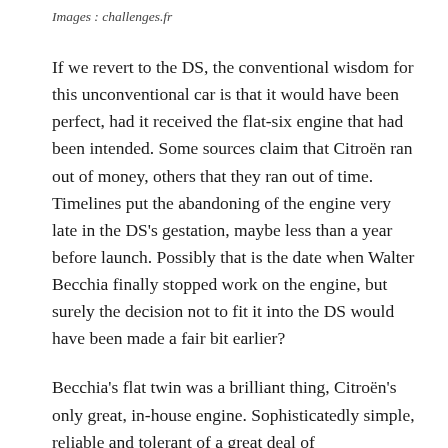Images : challenges.fr
If we revert to the DS, the conventional wisdom for this unconventional car is that it would have been perfect, had it received the flat-six engine that had been intended. Some sources claim that Citroën ran out of money, others that they ran out of time. Timelines put the abandoning of the engine very late in the DS's gestation, maybe less than a year before launch. Possibly that is the date when Walter Becchia finally stopped work on the engine, but surely the decision not to fit it into the DS would have been made a fair bit earlier?
Becchia's flat twin was a brilliant thing, Citroën's only great, in-house engine. Sophisticatedly simple, reliable and tolerant of a great deal of